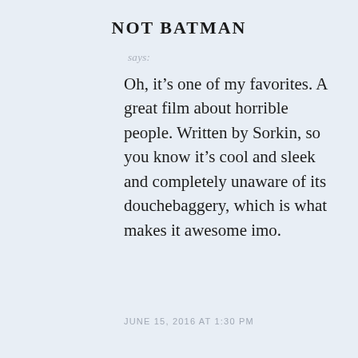NOT BATMAN
says:
Oh, it’s one of my favorites. A great film about horrible people. Written by Sorkin, so you know it’s cool and sleek and completely unaware of its douchebaggery, which is what makes it awesome imo.
JUNE 15, 2016 AT 1:30 PM